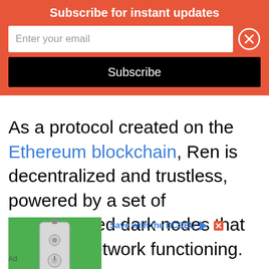Subscribe for instant updates
Enter your email
Subscribe
As a protocol created on the Ethereum blockchain, Ren is decentralized and trustless, powered by a set of decentralized dark nodes that keep the network functioning.
[Figure (illustration): Advertisement image showing a water heater on a green background with text 'Save with the DCSEU']
Ad